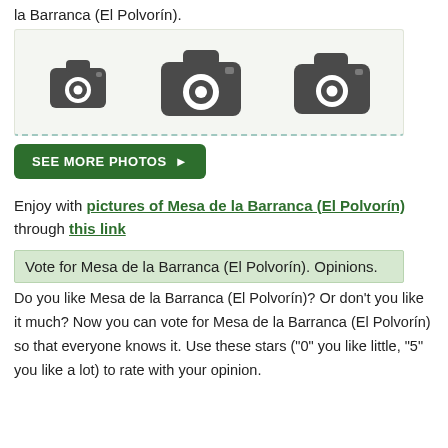la Barranca (El Polvorín).
[Figure (photo): Three camera placeholder icons on a light green background with a dashed bottom border, indicating a photo gallery placeholder.]
SEE MORE PHOTOS ▶
Enjoy with pictures of Mesa de la Barranca (El Polvorín) through this link
Vote for Mesa de la Barranca (El Polvorín). Opinions.
Do you like Mesa de la Barranca (El Polvorín)? Or don't you like it much? Now you can vote for Mesa de la Barranca (El Polvorín) so that everyone knows it. Use these stars ("0" you like little, "5" you like a lot) to rate with your opinion.